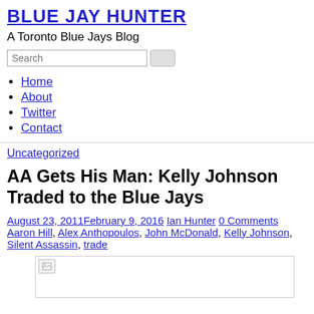BLUE JAY HUNTER
A Toronto Blue Jays Blog
Search
Home
About
Twitter
Contact
Uncategorized
AA Gets His Man: Kelly Johnson Traded to the Blue Jays
August 23, 2011February 9, 2016 Ian Hunter 0 Comments Aaron Hill, Alex Anthopoulos, John McDonald, Kelly Johnson, Silent Assassin, trade
[Figure (photo): Image placeholder with broken image icon]